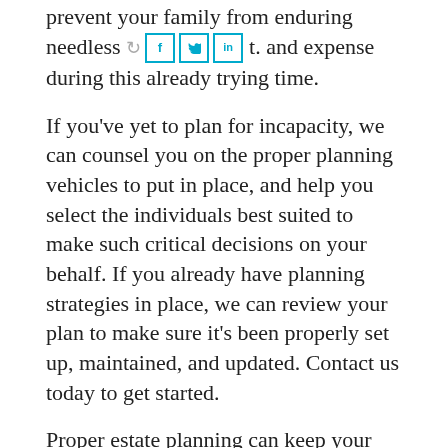prevent your family from enduring needless turmoil, and expense during this already trying time.
If you've yet to plan for incapacity, we can counsel you on the proper planning vehicles to put in place, and help you select the individuals best suited to make such critical decisions on your behalf. If you already have planning strategies in place, we can review your plan to make sure it's been properly set up, maintained, and updated. Contact us today to get started.
Proper estate planning can keep your family out of conflict, out of court, and out of the